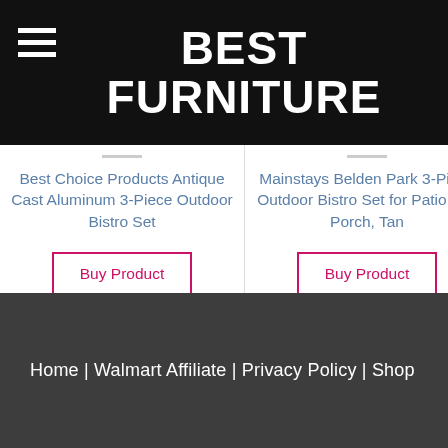BEST FURNITURE
Best Choice Products Antique Cast Aluminum 3-Piece Outdoor Bistro Set
Buy Product
Mainstays Belden Park 3-Piece Outdoor Bistro Set for Patio and Porch, Tan
Buy Product
Gym Se...
Home | Walmart Affiliate | Privacy Policy | Shop